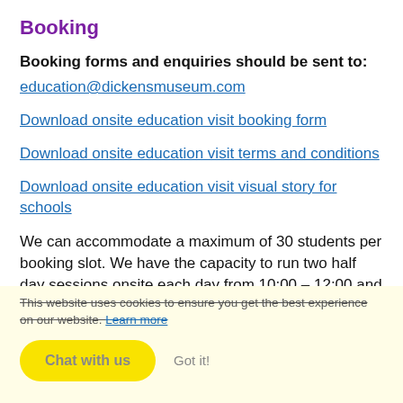Booking
Booking forms and enquiries should be sent to:
education@dickensmuseum.com
Download onsite education visit booking form
Download onsite education visit terms and conditions
Download onsite education visit visual story for schools
We can accommodate a maximum of 30 students per booking slot. We have the capacity to run two half day sessions onsite each day from 10:00 – 12:00 and 13:00-15:00. Please note that for the safety of your group we require a 1 adult-to-student ratio of 1:10 for each on-site visit.
Please be advised that full payment is required in order to
This website uses cookies to ensure you get the best experience on our website. Learn more
Chat with us
Got it!